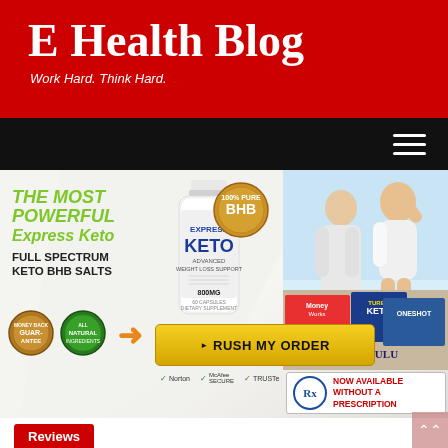E Health Blog
Work Hard. Think Hard.
[Figure (screenshot): Navigation bar with hamburger menu on black background]
[Figure (infographic): Express Keto advertisement banner with product bottle, BHB badge, people photo, Rush My Order button, guarantee badges, magazine stack, Rx badge, and Norton/McAfee/TRUSTe security icons. Text: THE MOST POWERFUL Express Keto FULL SPECTRUM KETO BHB SALTS. Button: RUSH MY ORDER. NOW AVAILABLE WITHOUT A PRESCRIPTION.]
Reviews